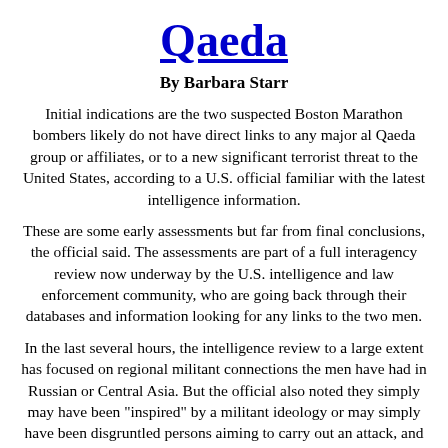Qaeda
By Barbara Starr
Initial indications are the two suspected Boston Marathon bombers likely do not have direct links to any major al Qaeda group or affiliates, or to a new significant terrorist threat to the United States, according to a U.S. official familiar with the latest intelligence information.
These are some early assessments but far from final conclusions, the official said. The assessments are part of a full interagency review now underway by the U.S. intelligence and law enforcement community, who are going back through their databases and information looking for any links to the two men.
In the last several hours, the intelligence review to a large extent has focused on regional militant connections the men have had in Russian or Central Asia. But the official also noted they simply may have been "inspired" by a militant ideology or may simply have been disgruntled persons aiming to carry out an attack, and had no connections to foreign groups. "We simply don't know yet," he said.